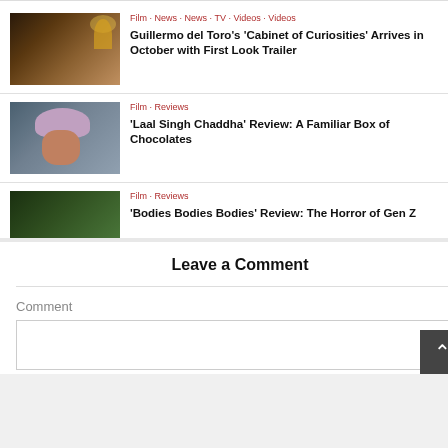[Figure (photo): Thumbnail image of a dark scene with a desk lamp, warm lighting, papers on a desk]
Film · News · News · TV · Videos · Videos
Guillermo del Toro's 'Cabinet of Curiosities' Arrives in October with First Look Trailer
[Figure (photo): Thumbnail image of a man wearing a pink/purple turban, holding something, smiling]
Film · Reviews
'Laal Singh Chaddha' Review: A Familiar Box of Chocolates
[Figure (photo): Thumbnail image of a group of young women in a dimly lit scene]
Film · Reviews
'Bodies Bodies Bodies' Review: The Horror of Gen Z
Leave a Comment
Comment